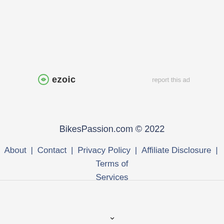[Figure (logo): Ezoic logo with green circular icon and bold dark text 'ezoic']
report this ad
BikesPassion.com © 2022
About | Contact | Privacy Policy | Affiliate Disclosure | Terms of Services